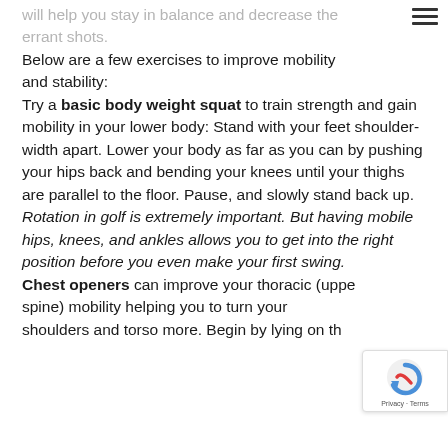will help you stay in balance and decrease the errant shots.
Below are a few exercises to improve mobility and stability:
Try a basic body weight squat to train strength and gain mobility in your lower body: Stand with your feet shoulder-width apart. Lower your body as far as you can by pushing your hips back and bending your knees until your thighs are parallel to the floor. Pause, and slowly stand back up. Rotation in golf is extremely important. But having mobile hips, knees, and ankles allows you to get into the right position before you even make your first swing.
Chest openers can improve your thoracic (upper spine) mobility helping you to turn your shoulders and torso more. Begin by lying on the floor and by keeping your arms still...